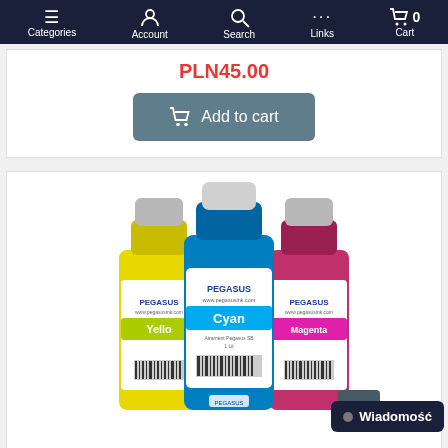Categories | Account | Search | Links | Cart 0
PLN45.00
Add to cart
[Figure (photo): Three bottles of Pegasus brand eco-solvent ink in yellow, cyan, and magenta colors, labeled for StormJet printers]
copy of SolDrop + Eco Solvent Ink for StormJet printers
PLN349.00